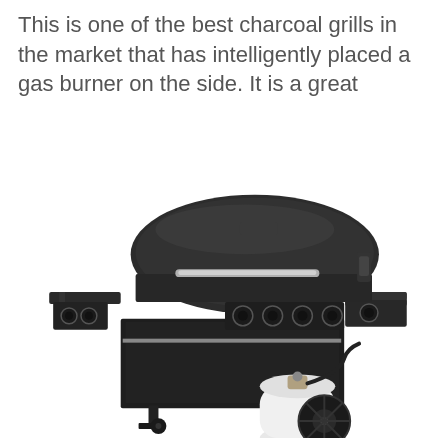This is one of the best charcoal grills in the market that has intelligently placed a gas burner on the side. It is a great
[Figure (photo): A black 4-burner gas grill with a side burner, side shelves, a white propane tank visible underneath, and two wheels on the right side. The grill has a rounded hood with a chrome handle and multiple control knobs on the front.]